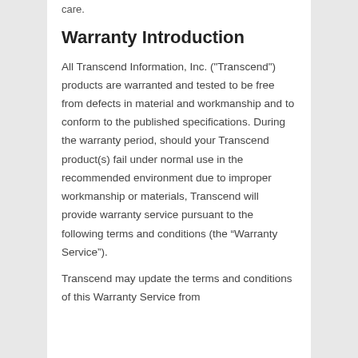care.
Warranty Introduction
All Transcend Information, Inc. ("Transcend") products are warranted and tested to be free from defects in material and workmanship and to conform to the published specifications. During the warranty period, should your Transcend product(s) fail under normal use in the recommended environment due to improper workmanship or materials, Transcend will provide warranty service pursuant to the following terms and conditions (the “Warranty Service”).
Transcend may update the terms and conditions of this Warranty Service from